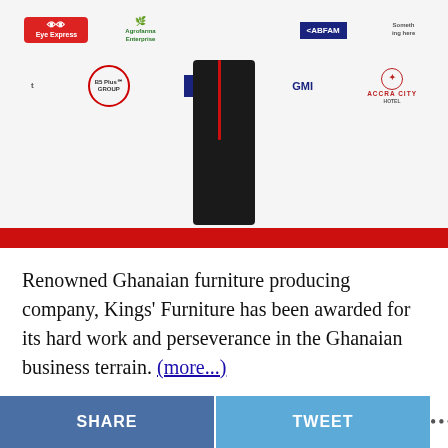[Figure (photo): A person in black clothing standing in front of a white sponsor backdrop featuring logos including Eye Express, Agrofarma Enterprise, B5 Plus Group, Ghana Union Assurance, KABFAM, GMI, Accra City Hotel, and others. A red stripe runs along the bottom of the backdrop.]
Renowned Ghanaian furniture producing company, Kings' Furniture has been awarded for its hard work and perseverance in the Ghanaian business terrain. (more...)
SHARE   TWEET   •••